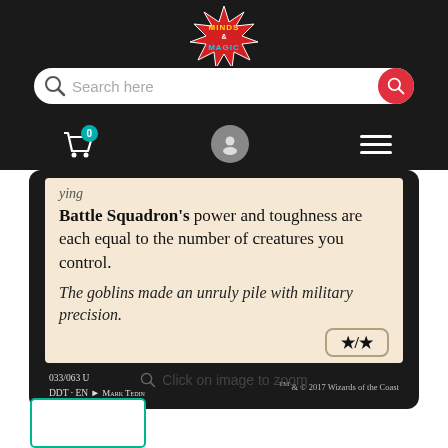[Figure (screenshot): Website header with logo for Minds & Magic trading card game shop, featuring a starburst logo with colorful text]
[Figure (screenshot): Search bar with placeholder text 'Search here' and red circular search button on dark background]
[Figure (screenshot): Navigation row with shopping cart icon (badge showing 0), user profile icon, and hamburger menu icon on dark background]
[Figure (screenshot): Magic: The Gathering card (Battle Squadron) showing partial card text, flavor text, power/toughness, set info: 033/063 U, DDT·EN, Mark Tedin, TM & C 2017 Wizards of the Coast]
Click on image to zoom
[Figure (screenshot): Small thumbnail/preview box with teal border, empty white content]